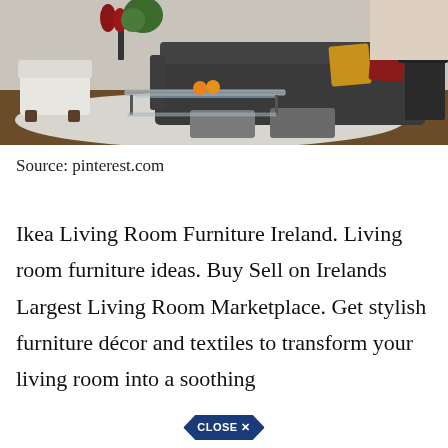[Figure (photo): A modern living room with a dark gray sectional sofa with colorful pillows (mustard yellow, red), a glass coffee table, a white accent chair, gray ottomans, and hardwood floors with a large area rug.]
Source: pinterest.com
Ikea Living Room Furniture Ireland. Living room furniture ideas. Buy Sell on Irelands Largest Living Room Marketplace. Get stylish furniture décor and textiles to transform your living room into a soothing